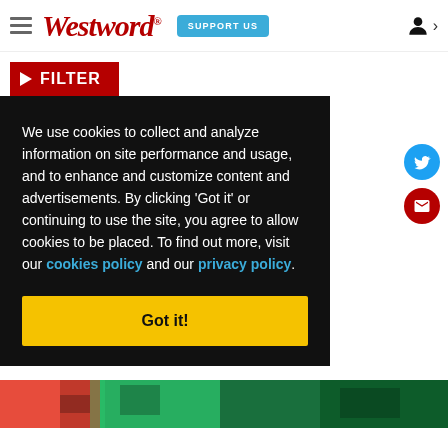Westword — SUPPORT US — [account icon]
FILTER
We use cookies to collect and analyze information on site performance and usage, and to enhance and customize content and advertisements. By clicking 'Got it' or continuing to use the site, you agree to allow cookies to be placed. To find out more, visit our cookies policy and our privacy policy.
Got it!
[Figure (screenshot): Bottom image strip showing partial food/scene photo in red and green tones]